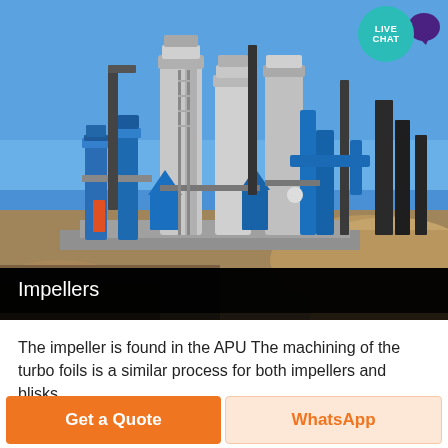[Figure (photo): Industrial processing plant with blue and silver tanks, silos, pipes and machinery against a blue sky, with a pile of gravel/aggregate in the foreground]
Impellers
The impeller is found in the APU The machining of the turbo foils is a similar process for both impellers and blisks